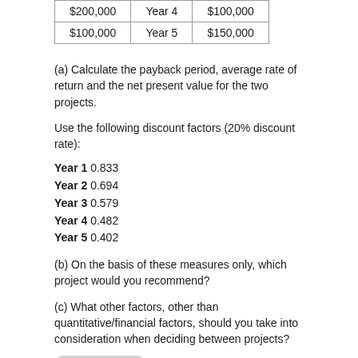| $200,000 | Year 4 | $100,000 |
| $100,000 | Year 5 | $150,000 |
(a) Calculate the payback period, average rate of return and the net present value for the two projects.
Use the following discount factors (20% discount rate):
Year 1 0.833
Year 2 0.694
Year 3 0.579
Year 4 0.482
Year 5 0.402
(b) On the basis of these measures only, which project would you recommend?
(c) What other factors, other than quantitative/financial factors, should you take into consideration when deciding between projects?
[Figure (logo): HL logo icon with arrow]
Quantitative factors - numerical questions (2)